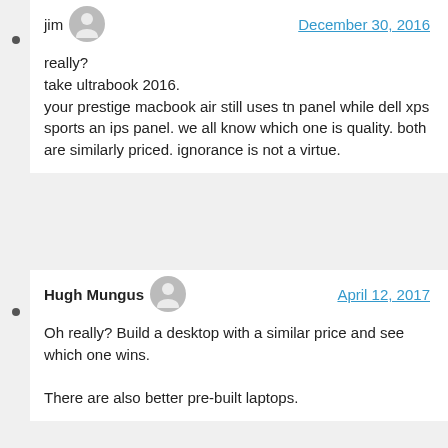jim — December 30, 2016
really?
take ultrabook 2016.
your prestige macbook air still uses tn panel while dell xps sports an ips panel. we all know which one is quality. both are similarly priced. ignorance is not a virtue.
Hugh Mungus — April 12, 2017
Oh really? Build a desktop with a similar price and see which one wins.

There are also better pre-built laptops.